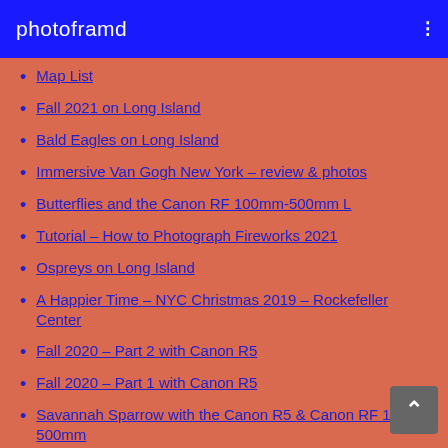photoframd
Map List
Fall 2021 on Long Island
Bald Eagles on Long Island
Immersive Van Gogh New York – review & photos
Butterflies and the Canon RF 100mm-500mm L
Tutorial – How to Photograph Fireworks 2021
Ospreys on Long Island
A Happier Time – NYC Christmas 2019 – Rockefeller Center
Fall 2020 – Part 2 with Canon R5
Fall 2020 – Part 1 with Canon R5
Savannah Sparrow with the Canon R5 & Canon RF 100-500mm
First Photos: Canon RF 100-500mm L Lens